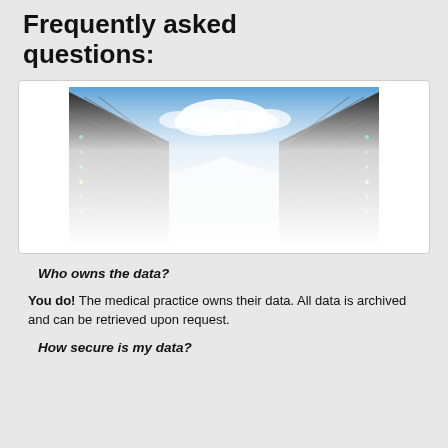Frequently asked questions:
[Figure (photo): Data center server room with rows of black server racks on both sides converging toward a bright white background with blue sky and clouds at the top center.]
Who owns the data?
You do!  The medical practice owns their data.  All data is archived and can be retrieved upon request.
How secure is my data?